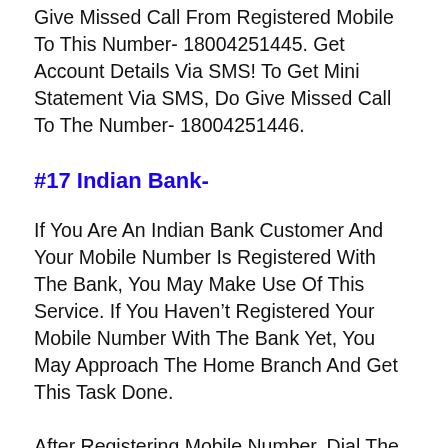Give Missed Call From Registered Mobile To This Number- 18004251445. Get Account Details Via SMS! To Get Mini Statement Via SMS, Do Give Missed Call To The Number- 18004251446.
#17 Indian Bank-
If You Are An Indian Bank Customer And Your Mobile Number Is Registered With The Bank, You May Make Use Of This Service. If You Haven’t Registered Your Mobile Number With The Bank Yet, You May Approach The Home Branch And Get This Task Done.
After Registering Mobile Number, Dial The Number- 09289592895 Using It. The Call Will Get Disconnected Automatically And The Bank Will Send An SMS Containing The Account Balance